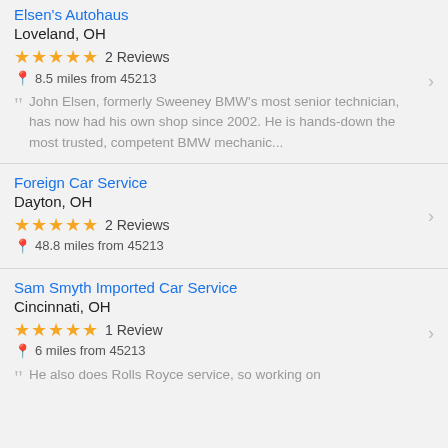Elsen's Autohaus
Loveland, OH
★★★★★ 2 Reviews
8.5 miles from 45213
John Elsen, formerly Sweeney BMW's most senior technician, has now had his own shop since 2002. He is hands-down the most trusted, competent BMW mechanic...
Foreign Car Service
Dayton, OH
★★★★★ 2 Reviews
48.8 miles from 45213
Sam Smyth Imported Car Service
Cincinnati, OH
★★★★★ 1 Review
6 miles from 45213
He also does Rolls Royce service, so working on